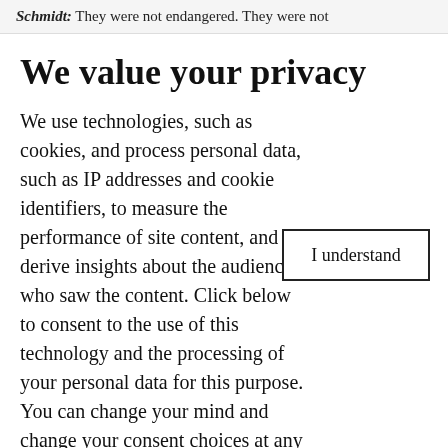Schmidt: They were not endangered. They were not
We value your privacy
We use technologies, such as cookies, and process personal data, such as IP addresses and cookie identifiers, to measure the performance of site content, and derive insights about the audiences who saw the content. Click below to consent to the use of this technology and the processing of your personal data for this purpose. You can change your mind and change your consent choices at any time by returning to this site. Read our Privacy Policy.